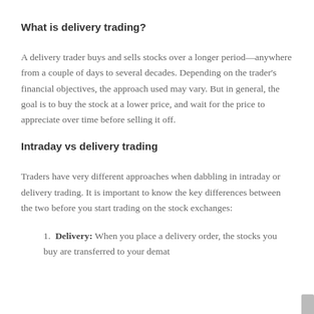What is delivery trading?
A delivery trader buys and sells stocks over a longer period—anywhere from a couple of days to several decades. Depending on the trader's financial objectives, the approach used may vary. But in general, the goal is to buy the stock at a lower price, and wait for the price to appreciate over time before selling it off.
Intraday vs delivery trading
Traders have very different approaches when dabbling in intraday or delivery trading. It is important to know the key differences between the two before you start trading on the stock exchanges:
Delivery: When you place a delivery order, the stocks you buy are transferred to your demat